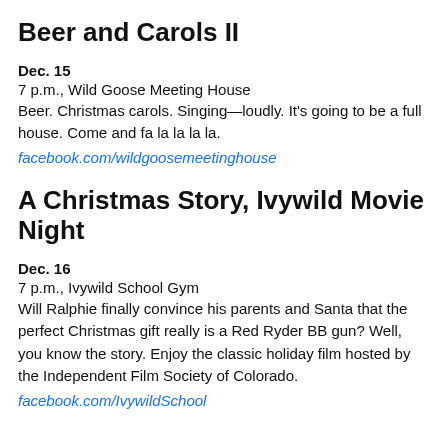Beer and Carols II
Dec. 15
7 p.m., Wild Goose Meeting House
Beer. Christmas carols. Singing—loudly. It's going to be a full house. Come and fa la la la la.
facebook.com/wildgoosemeetinghouse
A Christmas Story, Ivywild Movie Night
Dec. 16
7 p.m., Ivywild School Gym
Will Ralphie finally convince his parents and Santa that the perfect Christmas gift really is a Red Ryder BB gun? Well, you know the story. Enjoy the classic holiday film hosted by the Independent Film Society of Colorado.
facebook.com/IvywildSchool